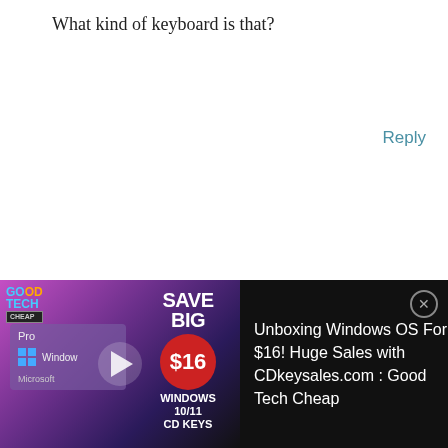What kind of keyboard is that?
Reply
[Figure (illustration): Yellow cartoon smiley face avatar with big eyes and glasses]
JACKIE CHENG
APRIL 4, 2012 AT 10:30 AM
Luxeed keyboard. You can change the lights on each key or even program it to show different lights for specific
[Figure (screenshot): Advertisement for CDkeysales.com showing Windows OS CD keys for $16, with Save Big branding and Good Tech Cheap logo]